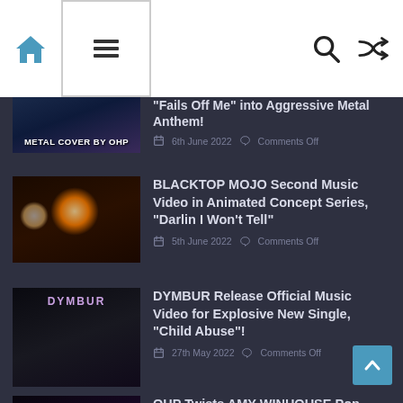Navigation bar with home icon, menu icon, search icon, shuffle icon
"Fails" Off Me" into Aggressive Metal Anthem!
6th June 2022  Comments Off
BLACKTOP MOJO Second Music Video in Animated Concept Series, “Darlin I Won’t Tell”
5th June 2022  Comments Off
DYMBUR Release Official Music Video for Explosive New Single, “Child Abuse”!
27th May 2022  Comments Off
OHP Twists AMY WINHOUSE Pop Classic “Rehab” into Heavy Metal Anthem!